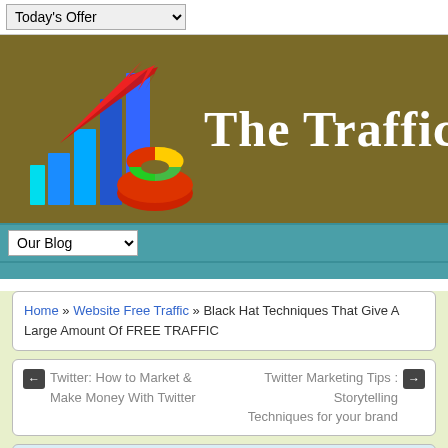Today's Offer
[Figure (logo): The Traffic website logo with bar chart graphic, red arrow, and pie chart icons on a dark olive/brown background with white text 'The Traffic']
Our Blog
Home » Website Free Traffic » Black Hat Techniques That Give A Large Amount Of FREE TRAFFIC
← Twitter: How to Market & Make Money With Twitter   Twitter Marketing Tips : Storytelling Techniques for your brand →
Black Hat Techniques That Give A Large Amount Of FREE TRAFFIC